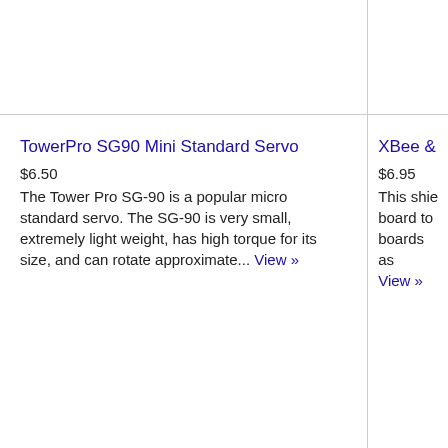TowerPro SG90 Mini Standard Servo
$6.50
The Tower Pro SG-90 is a popular micro standard servo. The SG-90 is very small, extremely light weight, has high torque for its size, and can rotate approximate... View »
XBee &
$6.95
This shie board to boards as View »